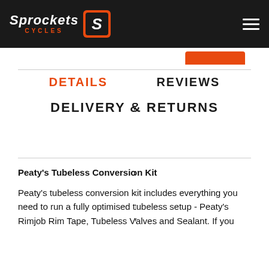Sprockets Cycles
DETAILS   REVIEWS
DELIVERY & RETURNS
Peaty's Tubeless Conversion Kit
Peaty's tubeless conversion kit includes everything you need to run a fully optimised tubeless setup - Peaty's Rimjob Rim Tape, Tubeless Valves and Sealant. If you